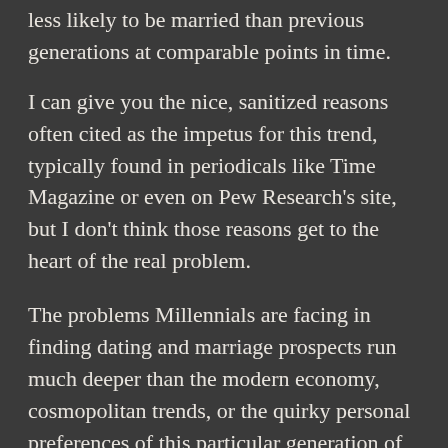less likely to be married than previous generations at comparable points in time.
I can give you the nice, sanitized reasons often cited as the impetus for this trend, typically found in periodicals like Time Magazine or even on Pew Research's site, but I don't think those reasons get to the heart of the real problem.
The problems Millennials are facing in finding dating and marriage prospects run much deeper than the modern economy, cosmopolitan trends, or the quirky personal preferences of this particular generation of Americans.
For starters, according to Pew Research,